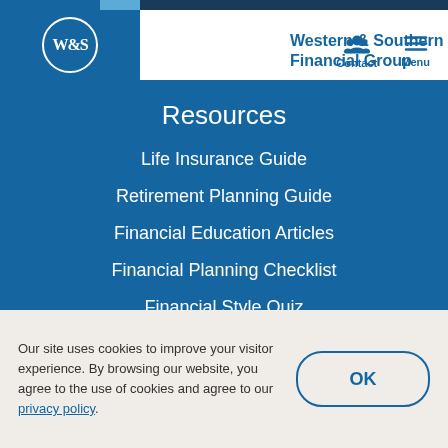Western & Southern Financial Group
Resources
Life Insurance Guide
Retirement Planning Guide
Financial Education Articles
Financial Planning Checklist
Financial Style Quiz
Financial Calculators
Our site uses cookies to improve your visitor experience. By browsing our website, you agree to the use of cookies and agree to our privacy policy.